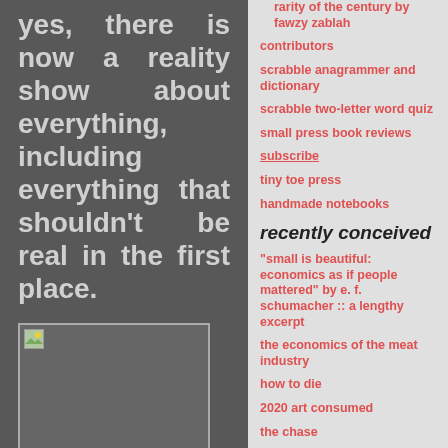yes, there is now a reality show about everything, including everything that shouldn't be real in the first place.
[Figure (photo): Small image placeholder with broken image icon in upper-left corner, dark grey background with light border]
I think I first heard of it
rarity of the century by fawzy zablah
contributors
scrabble anagrammer and dictionary
scrabble two-letter word quiz
small press book reviews
subscribe
tiny toe press
handmade notebooks
recently conceived
"small is beautiful: economics as if people mattered" by e. f. schumacher :: a lengthy excerpt
the economics of the meat industry
how to die
2020 art consumed
the chase